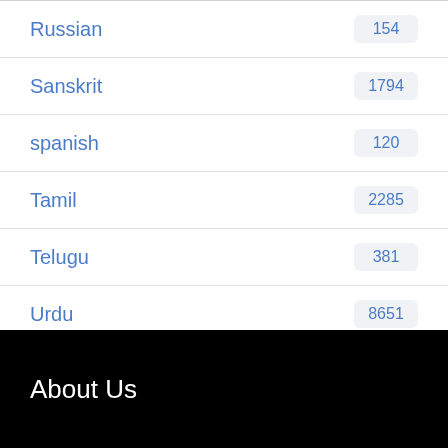Russian 154
Sanskrit 1794
spanish 120
Tamil 2285
Telugu 381
Urdu 8651
□□□□□□□□□ 481
About Us